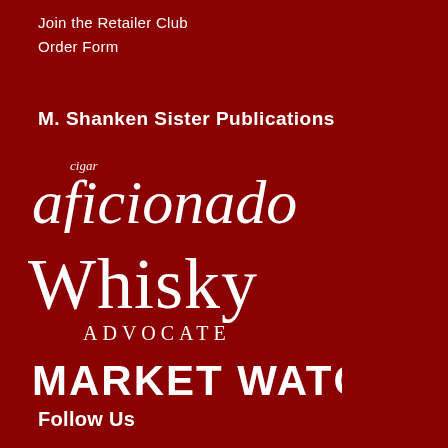Join the Retailer Club
Order Form
M. Shanken Sister Publications
[Figure (logo): cigar aficionado logo in white italic serif font on dark red background]
[Figure (logo): Whisky Advocate logo in white serif font on dark red background]
[Figure (logo): MARKET WATCH logo in white bold sans-serif font on dark red background]
Follow Us